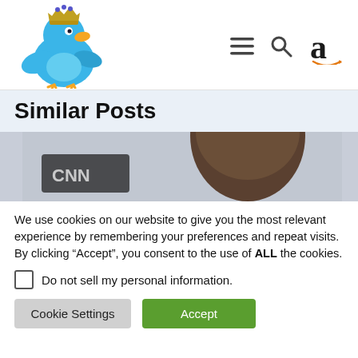[Figure (logo): Twitter bird mascot with crown logo]
[Figure (logo): Navigation icons: hamburger menu, search magnifier, Amazon 'a' logo]
Similar Posts
[Figure (photo): Photo of a person's head, partially cropped, with blurred background including a CNN sign]
We use cookies on our website to give you the most relevant experience by remembering your preferences and repeat visits. By clicking “Accept”, you consent to the use of ALL the cookies.
Do not sell my personal information.
Cookie Settings
Accept